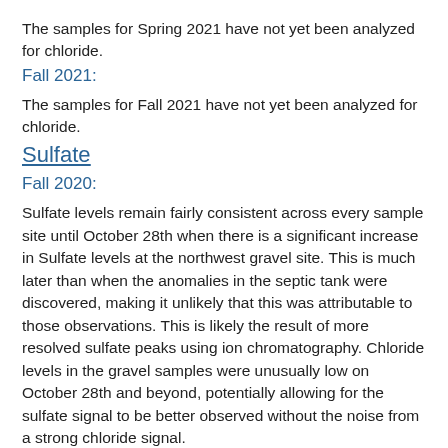The samples for Spring 2021 have not yet been analyzed for chloride.
Fall 2021:
The samples for Fall 2021 have not yet been analyzed for chloride.
Sulfate
Fall 2020:
Sulfate levels remain fairly consistent across every sample site until October 28th when there is a significant increase in Sulfate levels at the northwest gravel site. This is much later than when the anomalies in the septic tank were discovered, making it unlikely that this was attributable to those observations. This is likely the result of more resolved sulfate peaks using ion chromatography. Chloride levels in the gravel samples were unusually low on October 28th and beyond, potentially allowing for the sulfate signal to be better observed without the noise from a strong chloride signal.
Spring 2021: